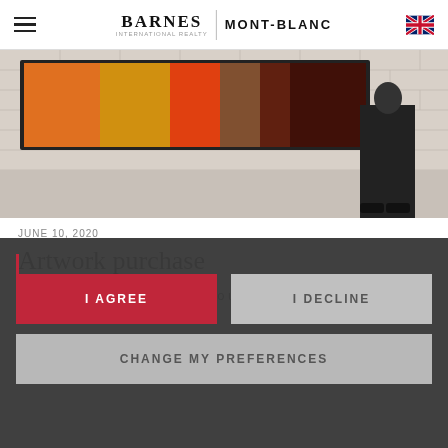BARNES | MONT-BLANC
[Figure (photo): Person standing in front of a large colorful painting on a white brick wall gallery setting]
JUNE 10, 2020
Artwork purchase
analyze our website traffic, and to understand where our visitors are coming from.
I AGREE
I DECLINE
CHANGE MY PREFERENCES